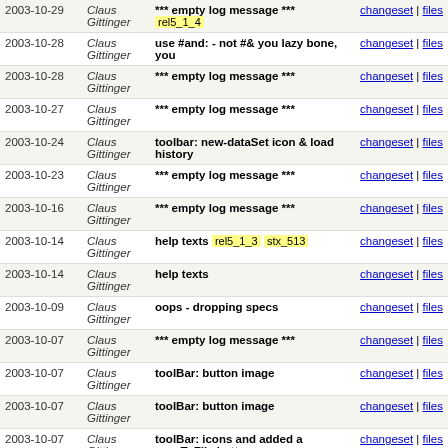| Date | Author | Message | Links |
| --- | --- | --- | --- |
| 2003-10-29 | Claus Gittinger | *** empty log message *** rel5_1_4 | changeset | files |
| 2003-10-28 | Claus Gittinger | use #and: - not #& you lazy bone, you | changeset | files |
| 2003-10-28 | Claus Gittinger | *** empty log message *** | changeset | files |
| 2003-10-27 | Claus Gittinger | *** empty log message *** | changeset | files |
| 2003-10-24 | Claus Gittinger | toolbar: new-dataSet icon & load history | changeset | files |
| 2003-10-23 | Claus Gittinger | *** empty log message *** | changeset | files |
| 2003-10-16 | Claus Gittinger | *** empty log message *** | changeset | files |
| 2003-10-14 | Claus Gittinger | help texts rel5_1_3 stx_513 | changeset | files |
| 2003-10-14 | Claus Gittinger | help texts | changeset | files |
| 2003-10-09 | Claus Gittinger | oops - dropping specs | changeset | files |
| 2003-10-07 | Claus Gittinger | *** empty log message *** | changeset | files |
| 2003-10-07 | Claus Gittinger | toolBar: button image | changeset | files |
| 2003-10-07 | Claus Gittinger | toolBar: button image | changeset | files |
| 2003-10-07 | Claus Gittinger | toolBar: icons and added a saveToFile button | changeset | files |